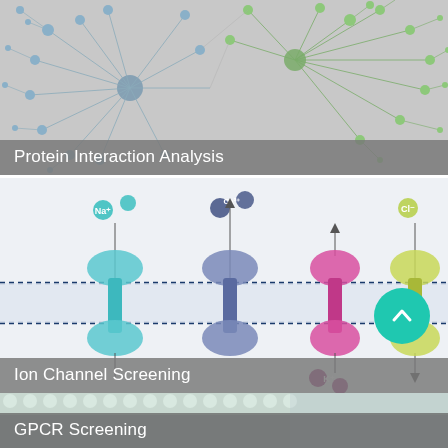[Figure (network-graph): Protein interaction network graph showing interconnected nodes (gray and green spheres) with lines representing protein-protein interactions, on a gray background.]
Protein Interaction Analysis
[Figure (illustration): Ion channel screening diagram showing four types of ion channels (Na+, Ca2+, K+, Cl-) embedded in a lipid bilayer membrane, represented as stylized protein structures in teal, gray-purple, pink, and yellow-green colors respectively.]
Ion Channel Screening
[Figure (illustration): GPCR screening illustration showing a GPCR protein (blue helices) embedded in a lipid bilayer (pale green beads) with a G-protein complex (red/orange) below and orange ligand molecules, with a teal scroll-up button overlay.]
GPCR Screening